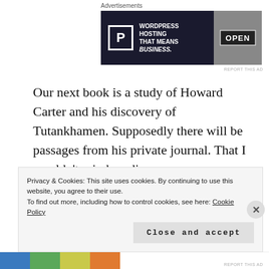Advertisements
[Figure (other): WordPress hosting advertisement banner: 'P' logo box, text 'WORDPRESS HOSTING THAT MEANS BUSINESS.' and an OPEN sign photo on the right]
Our next book is a study of Howard Carter and his discovery of Tutankhamen. Supposedly there will be passages from his private journal. That I wouldn’t mind reading.
Day 27 Digging in the dirt
Privacy & Cookies: This site uses cookies. By continuing to use this website, you agree to their use.
To find out more, including how to control cookies, see here: Cookie Policy
Close and accept